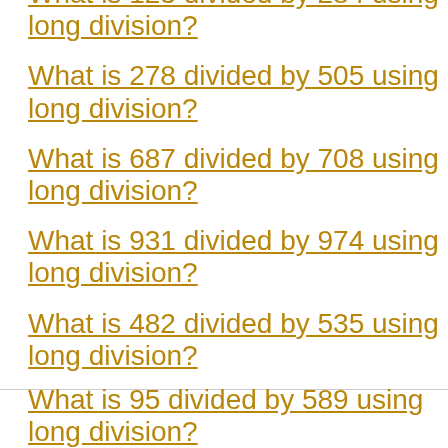What is 123 divided by 284 using long division?
What is 278 divided by 505 using long division?
What is 687 divided by 708 using long division?
What is 931 divided by 974 using long division?
What is 482 divided by 535 using long division?
What is 95 divided by 589 using long division?